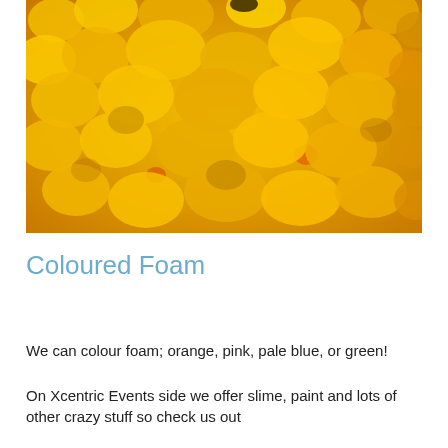[Figure (photo): Close-up photograph of bright yellow-orange coloured foam with a bubbly, textured surface. A small dark object is visible near the top center of the image.]
Coloured Foam
We can colour foam; orange, pink, pale blue, or green!
On Xcentric Events side we offer slime, paint and lots of other crazy stuff so check us out